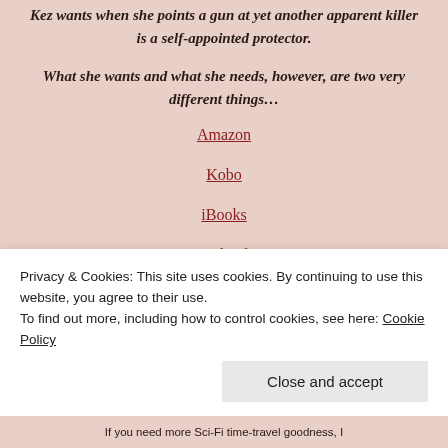Kez wants when she points a gun at yet another apparent killer is a self-appointed protector.
What she wants and what she needs, however, are two very different things…
Amazon
Kobo
iBooks
Google Play
Privacy & Cookies: This site uses cookies. By continuing to use this website, you agree to their use. To find out more, including how to control cookies, see here: Cookie Policy
Close and accept
If you need more Sci-Fi time-travel goodness, I